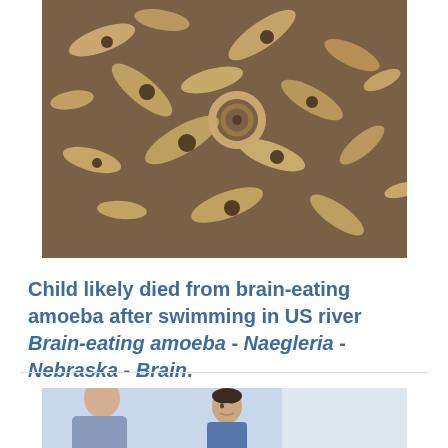[Figure (photo): Microscope image of brain-eating amoeba Naegleria, showing dark purple and tan/yellow elongated organisms under microscopy]
Child likely died from brain-eating amoeba after swimming in US river Brain-eating amoeba - Naegleria - Nebraska - Brain.
ITV NEWS · 2 WEEKS AGO
Read more at ITV News
Tag: brain eating amoeba symptoms.
[Figure (photo): Photo of a child looking upward, possibly in a medical or home setting, with an adult partially visible]